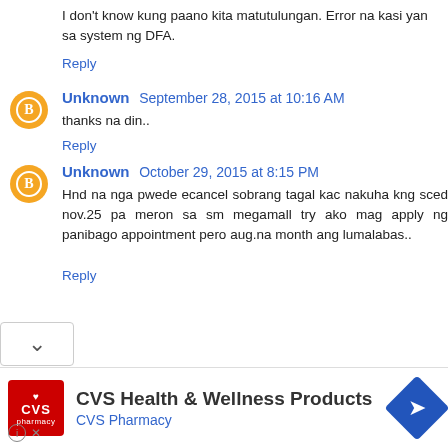I don't know kung paano kita matutulungan. Error na kasi yan sa system ng DFA.
Reply
Unknown  September 28, 2015 at 10:16 AM
thanks na din..
Reply
Unknown  October 29, 2015 at 8:15 PM
Hnd na nga pwede ecancel sobrang tagal kac nakuha kng sced nov.25 pa meron sa sm megamall try ako mag apply ng panibago appointment pero aug.na month ang lumalabas..
Reply
[Figure (infographic): CVS Health & Wellness Products advertisement banner with CVS Pharmacy logo, text, and navigation icon]